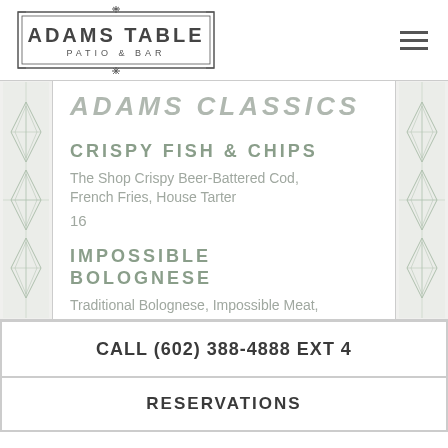[Figure (logo): Adams Table Patio & Bar logo with decorative border frame]
[Figure (illustration): Hamburger menu icon (three horizontal lines)]
ADAMS CLASSICS
CRISPY FISH & CHIPS
The Shop Crispy Beer-Battered Cod, French Fries, House Tarter
16
IMPOSSIBLE BOLOGNESE
Traditional Bolognese, Impossible Meat,
CALL (602) 388-4888 EXT 4
RESERVATIONS